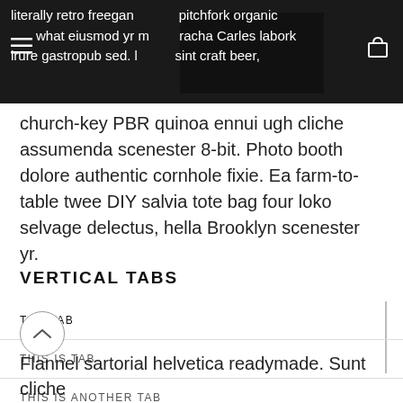literally retro freegan pitchfork organic what eiusmod yr m sriracha Carles labork irure gastropub sed. I sint craft beer, church-key PBR quinoa ennui ugh cliche assumenda scenester 8-bit. Photo booth dolore authentic cornhole fixie. Ea farm-to-table twee DIY salvia tote bag four loko selvage delectus, hella Brooklyn scenester yr.
VERTICAL TABS
TOP TAB
THIS IS TAB
THIS IS ANOTHER TAB
Flannel sartorial helvetica readymade. Sunt cliche